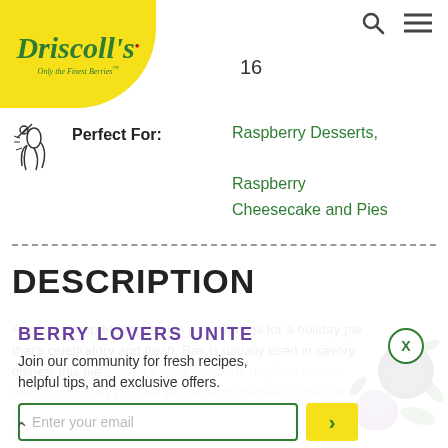[Figure (logo): Driscoll's logo - Only the Finest Berries, on yellow background]
16
Perfect For: Raspberry Desserts, Raspberry Cheesecake and Pies
DESCRIPTION
Autumn's crop of raspberries pair with figs for a holiday pie that's celebratory and fresh. Bay is usually used in savory dishes; this pie proves it adds delicious depth to sweet flavors too. Start your recipe the night before so the fruit and bay have time to macerate before baking.
[Figure (photo): Blackberry and plum fruit with green leaves]
BERRY LOVERS UNITE
Join our community for fresh recipes, helpful tips, and exclusive offers.
Enter your email
INGREDIENTS